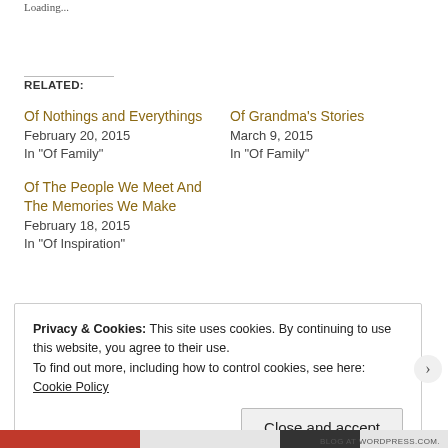Loading...
RELATED:
Of Nothings and Everythings
February 20, 2015
In "Of Family"
Of Grandma's Stories
March 9, 2015
In "Of Family"
Of The People We Meet And The Memories We Make
February 18, 2015
In "Of Inspiration"
Privacy & Cookies: This site uses cookies. By continuing to use this website, you agree to their use.
To find out more, including how to control cookies, see here: Cookie Policy
Close and accept